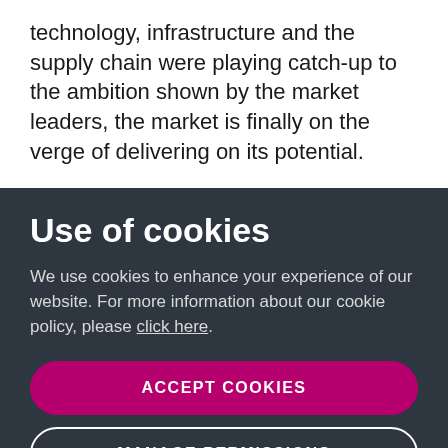technology, infrastructure and the supply chain were playing catch-up to the ambition shown by the market leaders, the market is finally on the verge of delivering on its potential.
Use of cookies
We use cookies to enhance your experience of our website. For more information about our cookie policy, please click here.
ACCEPT COOKIES
MANAGE PERMISSIONS